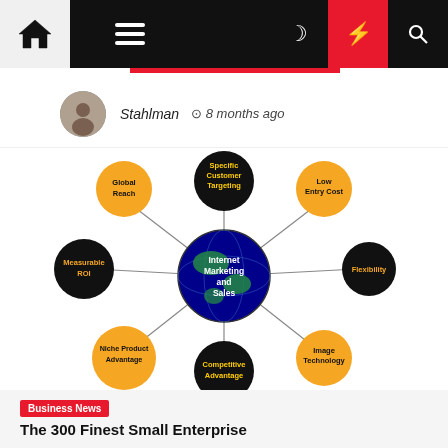Navigation bar with home, menu, moon, lightning, search icons
Stahlman  8 months ago
[Figure (infographic): Radial diagram showing Internet Marketing and Sales at the center (globe image), surrounded by 7 nodes: Specific Customer Targeting (black, top), Low Entry Cost (orange, top-right), Flexibility (black, right), Image Technology (orange, bottom-right), Competitive Advantage (black, bottom), Niche Product Advantage (orange, bottom-left), Measurable ROI (black, left), Global Reach (orange, top-left). Lines connect each node to the center.]
Business News
The 300 Finest Small Enterprise